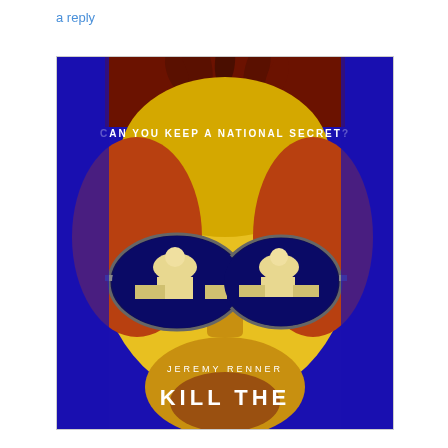a reply
[Figure (photo): Movie poster for 'Kill The' featuring Jeremy Renner. A close-up face with red, yellow, and blue duotone effect wearing aviator sunglasses reflecting the US Capitol building. Text reads: CAN YOU KEEP A NATIONAL SECRET? JEREMY RENNER KILL THE]